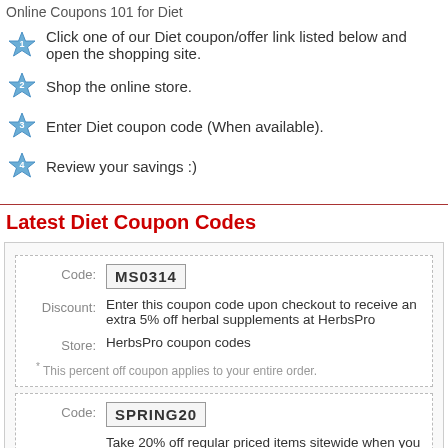Online Coupons 101 for Diet
Click one of our Diet coupon/offer link listed below and open the shopping site.
Shop the online store.
Enter Diet coupon code (When available).
Review your savings :)
Latest Diet Coupon Codes
Code: MS0314
Discount: Enter this coupon code upon checkout to receive an extra 5% off herbal supplements at HerbsPro
Store: HerbsPro coupon codes
* This percent off coupon applies to your entire order.
Code: SPRING20
Take 20% off regular priced items sitewide when you shop using t